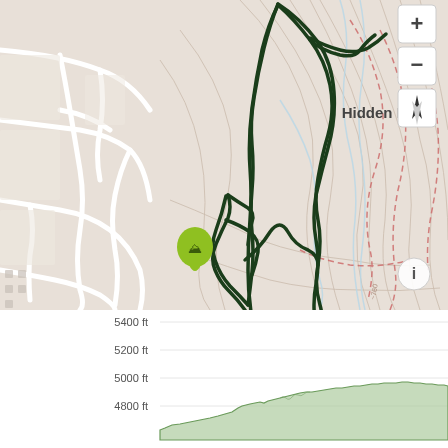[Figure (map): Topographic trail map showing 'Hidden Hills' area with a dark green trail route overlay, contour lines, dashed red trails, light blue stream features, road network in white/light gray, a green map pin marker, zoom controls (+/-) and orientation button in upper right, and an info button in lower right.]
[Figure (area-chart): Elevation profile chart showing terrain rising from approximately 4800 ft to around 5200-5300 ft. Y-axis labels: 5400 ft, 5200 ft, 5000 ft, 4800 ft (partially visible). Green shaded area chart.]